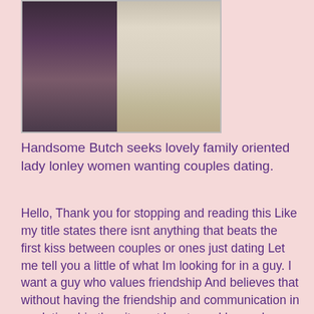[Figure (photo): Two photos side by side: left shows a woman in dark clothing seated, right shows a person in a light-colored outfit standing]
Handsome Butch seeks lovely family oriented lady lonley women wanting couples dating.
Hello, Thank you for stopping and reading this Like my title states there isnt anything that beats the first kiss between couples or ones just dating Let me tell you a little of what Im looking for in a guy. I want a guy who values friendship And believes that without having the friendship and communication in a relationship then it wont be strong I have always wanted to person Im dating to be my best horny black girl seeking romance friend, I hope someday I will get that. I also would like a guy who is single. Drama free is great. Also please be between the ages of 70-70 Ok let me tell you a little about tits in Port Macquarie ia myself, I'm 70 have just recently moved back to this area after being gone for bout 70 yrs I'm a red head with tons of freckles, and I'm a bbw which I hope doesnt scare to many guys off. A little about what I like to do, I enjoy camping, fishing